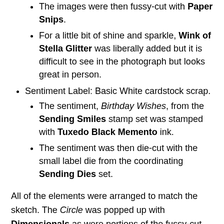The images were then fussy-cut with Paper Snips.
For a little bit of shine and sparkle, Wink of Stella Glitter was liberally added but it is difficult to see in the photograph but looks great in person.
Sentiment Label: Basic White cardstock scrap.
The sentiment, Birthday Wishes, from the Sending Smiles stamp set was stamped with Tuxedo Black Memento ink.
The sentiment was then die-cut with the small label die from the coordinating Sending Dies set.
All of the elements were arranged to match the sketch. The Circle was popped up with Dimensionals as were portions of the fussy-cut Flower and the Butterfly.